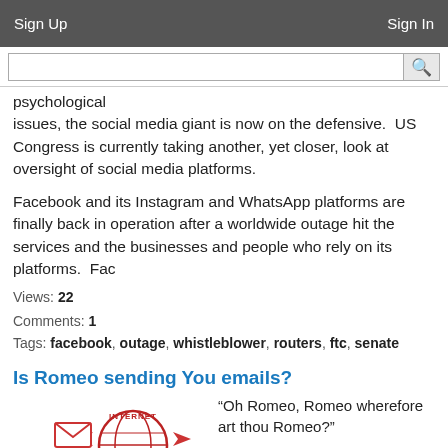Sign Up    Sign In
psychological issues, the social media giant is now on the defensive.  US Congress is currently taking another, yet closer, look at oversight of social media platforms.
Facebook and its Instagram and WhatsApp platforms are finally back in operation after a worldwide outage hit the services and the businesses and people who rely on its platforms.  Fac
Views: 22
Comments: 1
Tags: facebook, outage, whistleblower, routers, ftc, senate
Is Romeo sending You emails?
[Figure (illustration): Illustration of an internet stamp/globe logo with arrows, partially visible]
“Oh Romeo, Romeo wherefore art thou Romeo?”